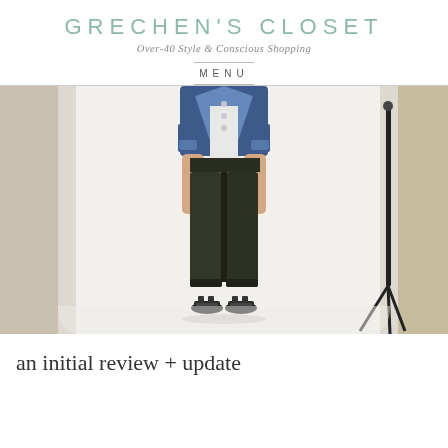GRECHEN'S CLOSET
Over-40 Style & Conscious Shopping
MENU
[Figure (photo): Woman wearing dark olive/charcoal trousers with cuffed hems, a denim jacket, white top, and black Birkenstock sandals, standing in front of a white photography backdrop with a light stand on the right side. Studio/home photoshoot setting.]
an initial review + update